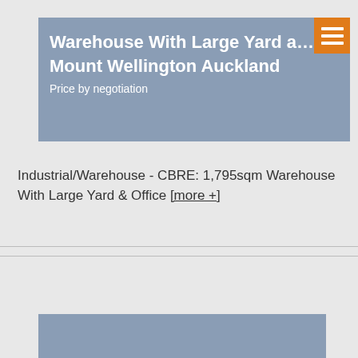Warehouse With Large Yard a… Mount Wellington Auckland Price by negotiation
Industrial/Warehouse - CBRE: 1,795sqm Warehouse With Large Yard & Office [more +]